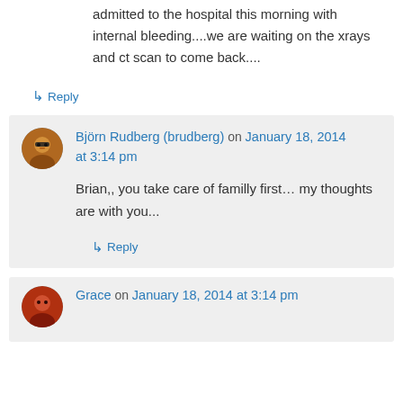admitted to the hospital this morning with internal bleeding....we are waiting on the xrays and ct scan to come back....
↳ Reply
Björn Rudberg (brudberg) on January 18, 2014 at 3:14 pm
Brian,, you take care of familly first… my thoughts are with you...
↳ Reply
Grace on January 18, 2014 at 3:14 pm